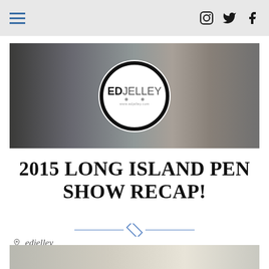Navigation bar with hamburger menu and social icons (Instagram, Twitter, Facebook)
[Figure (photo): Banner photo showing fountain pens and stationery items with EdJelley logo circle overlay]
2015 LONG ISLAND PEN SHOW RECAP!
edjelley
Announcements
2 Comments
[Figure (photo): Partial bottom strip showing notebooks and pens]